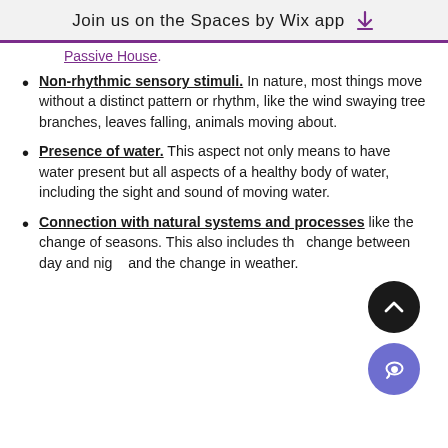Join us on the Spaces by Wix app
Passive House.
Non-rhythmic sensory stimuli. In nature, most things move without a distinct pattern or rhythm, like the wind swaying tree branches, leaves falling, animals moving about.
Presence of water. This aspect not only means to have water present but all aspects of a healthy body of water, including the sight and sound of moving water.
Connection with natural systems and processes like the change of seasons. This also includes the change between day and night and the change in weather.